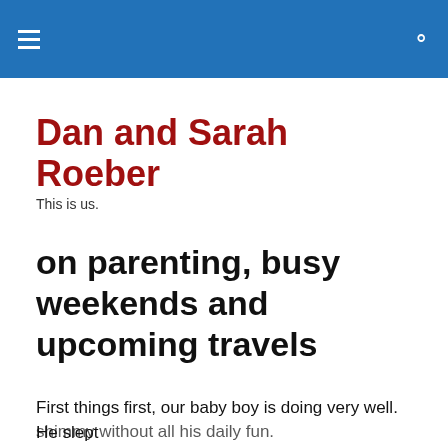Dan and Sarah Roeber
Dan and Sarah Roeber
This is us.
on parenting, busy weekends and upcoming travels
First things first, our baby boy is doing very well. He slept
Privacy & Cookies: This site uses cookies. By continuing to use this website, you agree to their use.
To find out more, including how to control cookies, see here: Cookie Policy
Close and accept
shimmy without all his daily fun.